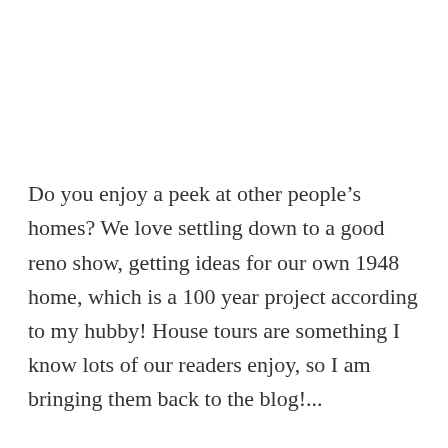Do you enjoy a peek at other people's homes? We love settling down to a good reno show, getting ideas for our own 1948 home, which is a 100 year project according to my hubby! House tours are something I know lots of our readers enjoy, so I am bringing them back to the blog!...